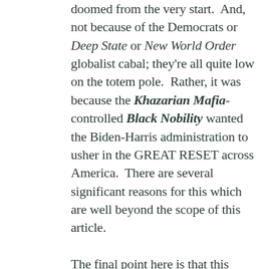doomed from the very start.  And, not because of the Democrats or Deep State or New World Order globalist cabal; they're all quite low on the totem pole.  Rather, it was because the Khazarian Mafia-controlled Black Nobility wanted the Biden-Harris administration to usher in the GREAT RESET across America.  There are several significant reasons for this which are well beyond the scope of this article.

The final point here is that this unbroken chain of worldly power goes back to the Caesars.  And, President Trump…